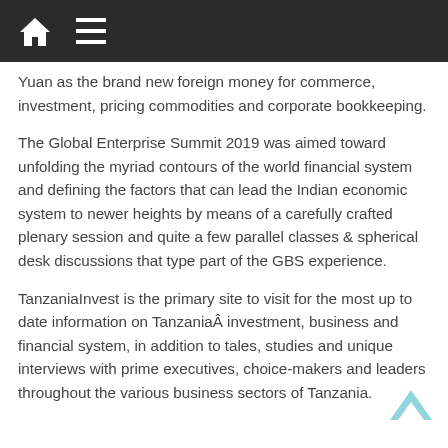[navigation icons: home and menu]
Yuan as the brand new foreign money for commerce, investment, pricing commodities and corporate bookkeeping.
The Global Enterprise Summit 2019 was aimed toward unfolding the myriad contours of the world financial system and defining the factors that can lead the Indian economic system to newer heights by means of a carefully crafted plenary session and quite a few parallel classes & spherical desk discussions that type part of the GBS experience.
TanzaniaInvest is the primary site to visit for the most up to date information on TanzaniaÂ investment, business and financial system, in addition to tales, studies and unique interviews with prime executives, choice-makers and leaders throughout the various business sectors of Tanzania.